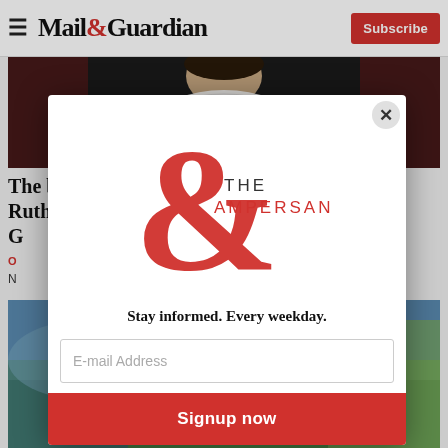Mail&Guardian | Subscribe
[Figure (photo): Photo of a judge (Ruth Bader Ginsburg) in black robes with distinctive white lace collar, cropped to show upper body]
The bloody battle to replace Ruth Bader G[insburg]
O[pinion]
N[ewsletter text snippet]
[Figure (photo): Landscape background photo partially visible behind modal]
[Figure (logo): The Ampersand newsletter logo — large red ampersand with THE AMPERSAND text]
Stay informed. Every weekday.
E-mail Address
Signup now